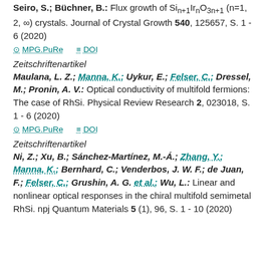Seiro, S.; Buchner, B.: Flux growth of Sin+1IrnO3n+1 (n=1, 2, ∞) crystals. Journal of Crystal Growth 540, 125657, S. 1 - 6 (2020)
MPG.PuRe   DOI
Zeitschriftenartikel
Maulana, L. Z.; Manna, K.; Uykur, E.; Felser, C.; Dressel, M.; Pronin, A. V.: Optical conductivity of multifold fermions: The case of RhSi. Physical Review Research 2, 023018, S. 1 - 6 (2020)
MPG.PuRe   DOI
Zeitschriftenartikel
Ni, Z.; Xu, B.; Sánchez-Martínez, M.-Á.; Zhang, Y.; Manna, K.; Bernhard, C.; Venderbos, J. W. F.; de Juan, F.; Felser, C.; Grushin, A. G. et al.; Wu, L.: Linear and nonlinear optical responses in the chiral multifold semimetal RhSi. npj Quantum Materials 5 (1), 96, S. 1 - 10 (2020)